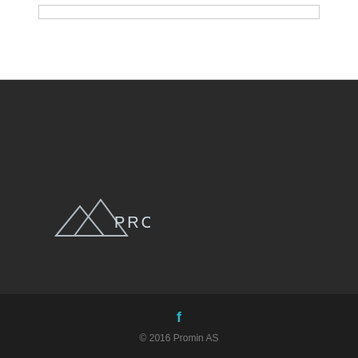[Figure (logo): Promin logo with mountain triangle icon and PROMIN text in white on dark background]
f
© 2016 Promin AS